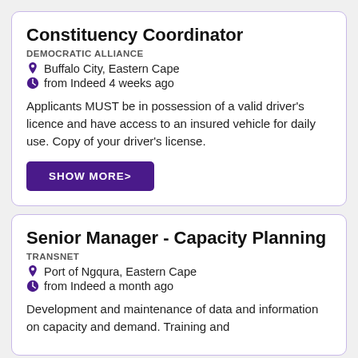Constituency Coordinator
DEMOCRATIC ALLIANCE
Buffalo City, Eastern Cape
from Indeed 4 weeks ago
Applicants MUST be in possession of a valid driver’s licence and have access to an insured vehicle for daily use. Copy of your driver’s license.
SHOW MORE>
Senior Manager - Capacity Planning
TRANSNET
Port of Ngqura, Eastern Cape
from Indeed a month ago
Development and maintenance of data and information on capacity and demand. Training and